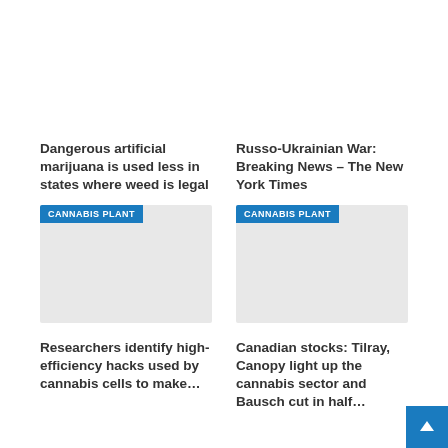Dangerous artificial marijuana is used less in states where weed is legal
Russo-Ukrainian War: Breaking News – The New York Times
[Figure (other): Gray placeholder image card with blue 'CANNABIS PLANT' tag label at top left]
[Figure (other): Gray placeholder image card with blue 'CANNABIS PLANT' tag label at top left]
Researchers identify high-efficiency hacks used by cannabis cells to make…
Canadian stocks: Tilray, Canopy light up the cannabis sector and Bausch cut in half…